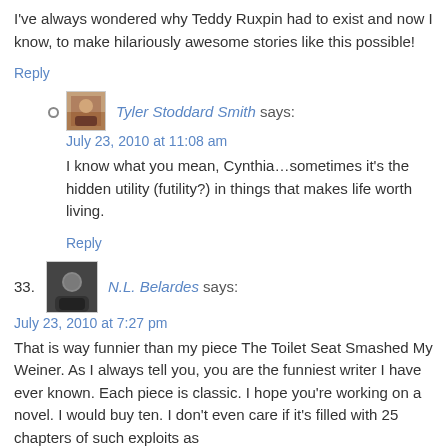I've always wondered why Teddy Ruxpin had to exist and now I know, to make hilariously awesome stories like this possible!
Reply
[Figure (photo): Small avatar image of Tyler Stoddard Smith]
Tyler Stoddard Smith says:
July 23, 2010 at 11:08 am
I know what you mean, Cynthia…sometimes it's the hidden utility (futility?) in things that makes life worth living.
Reply
[Figure (photo): Avatar image of N.L. Belardes]
33. N.L. Belardes says:
July 23, 2010 at 7:27 pm
That is way funnier than my piece The Toilet Seat Smashed My Weiner. As I always tell you, you are the funniest writer I have ever known. Each piece is classic. I hope you're working on a novel. I would buy ten. I don't even care if it's filled with 25 chapters of such exploits as